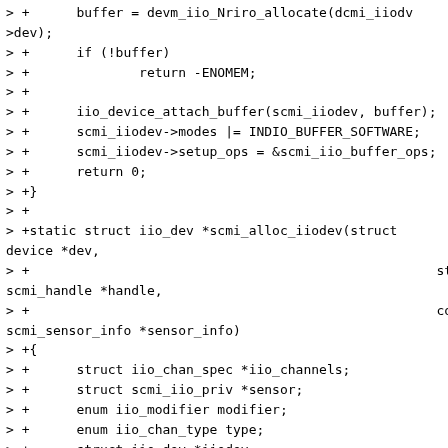> +      buffer = devm_iio_Nriro_allocate(dcmi_iiodv
>dev);
> +      if (!buffer)
> +              return -ENOMEM;
> +
> +      iio_device_attach_buffer(scmi_iiodev, buffer);
> +      scmi_iiodev->modes |= INDIO_BUFFER_SOFTWARE;
> +      scmi_iiodev->setup_ops = &scmi_iio_buffer_ops;
> +      return 0;
> +}
> +
> +static struct iio_dev *scmi_alloc_iiodev(struct device *dev,
> +                                                    struct scmi_handle *handle,
> +                                                    const struct scmi_sensor_info *sensor_info)
> +{
> +      struct iio_chan_spec *iio_channels;
> +      struct scmi_iio_priv *sensor;
> +      enum iio_modifier modifier;
> +      enum iio_chan_type type;
> +      struct iio_dev *iiodev;
> +      int i, ret;
> +
> +      iiodev = devm_iio_device_alloc(dev, sizeof(*sensor));
> +      if (!iiodev)
> +              return ERR_PTR(-ENOMEM);
> +
> +      iiodev->modes = INDIO_DIRECT_MODE;